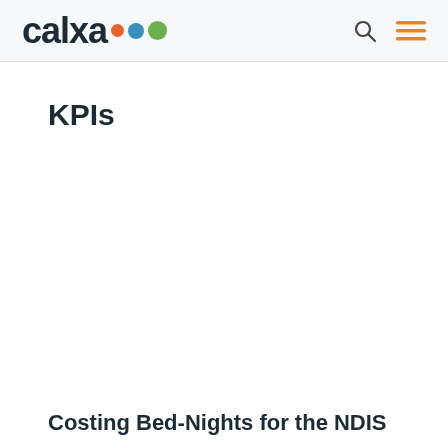calxa [logo with dots] [search icon] [menu icon]
KPIs
Costing Bed-Nights for the NDIS